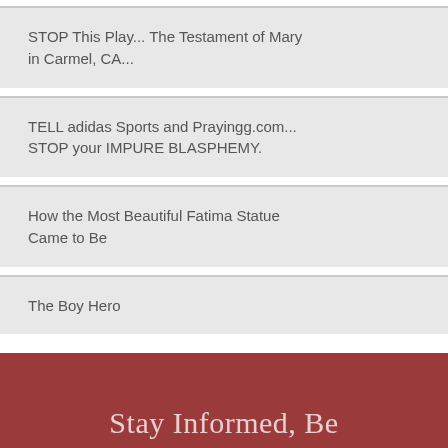STOP This Play... The Testament of Mary in Carmel, CA...
TELL adidas Sports and Prayingg.com... STOP your IMPURE BLASPHEMY.
How the Most Beautiful Fatima Statue Came to Be
The Boy Hero
Stay Informed, Be